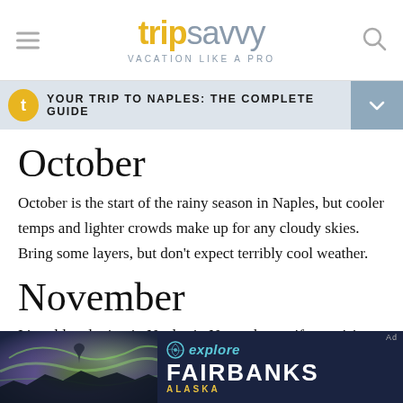tripsavvy — VACATION LIKE A PRO
YOUR TRIP TO NAPLES: THE COMPLETE GUIDE
October
October is the start of the rainy season in Naples, but cooler temps and lighter crowds make up for any cloudy skies. Bring some layers, but don't expect terribly cool weather.
November
It's cold and rainy in Naples in November so if you visit
[Figure (other): Advertisement banner for Explore Fairbanks Alaska with aurora borealis background image]